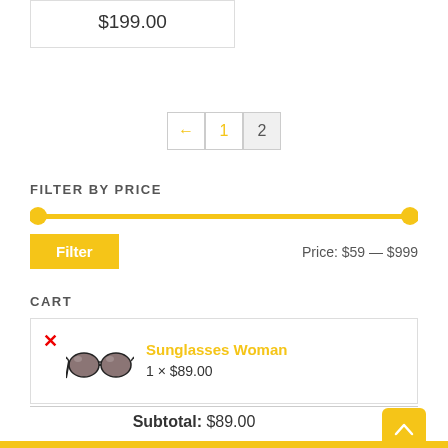$199.00
← 1 2
FILTER BY PRICE
[Figure (other): Price range slider with yellow track from min to max, two yellow circle handles at each end]
Filter   Price: $59 — $999
CART
| ✕ | Sunglasses Woman | 1 × $89.00 |
Subtotal: $89.00